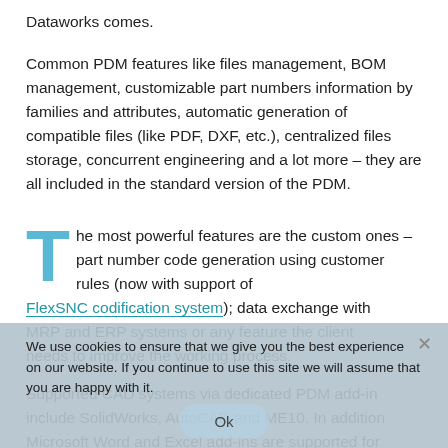Dataworks comes.
Common PDM features like files management, BOM management, customizable part numbers information by families and attributes, automatic generation of compatible files (like PDF, DXF, etc.), centralized files storage, concurrent engineering and a lot more – they are all included in the standard version of the PDM.
The most powerful features are the custom ones – part number code generation using customer rules (now with support of FlexSNC codification system); data exchange with MRP and ERP systems or any feature the client needs to improve the working process.
Supported CAD systems via dedicated PDM add-in include SolidWorks, AutoCAD and ME10. In addition Microsoft Word and Excel add-ins are supported for improved documentation of the product. Compatibility for like PDF, DXF, P...